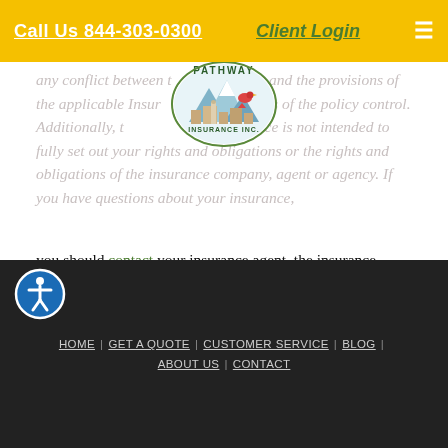Call Us 844-303-0300 | Client Login
[Figure (logo): Pathway Insurance Inc. circular logo with mountains, buildings, and a bird]
any conflict between these provisions and the provisions of the applicable Insurance Policy, the terms of the policy control. Additionally, this educational resource is not intended to fully set out your rights and obligations or the rights and obligations of the insurance company, agent or agency. If you have questions about your insurance, you should contact your insurance agent, the insurance company, or the language of the insurance policy.
Insurance Websites Designed and Hosted by Insurance Website Builder
Glossary content provided by Insurance Information Institute and ITC
HOME | GET A QUOTE | CUSTOMER SERVICE | BLOG | ABOUT US | CONTACT